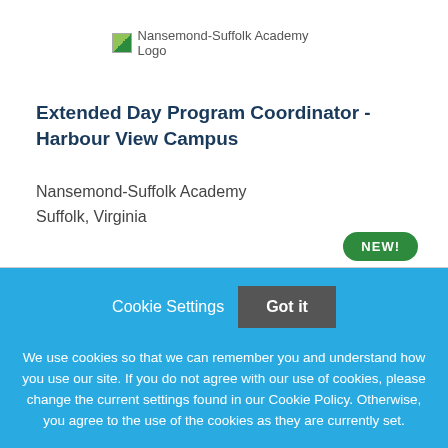[Figure (logo): Nansemond-Suffolk Academy Logo placeholder image]
Extended Day Program Coordinator - Harbour View Campus
Nansemond-Suffolk Academy
Suffolk, Virginia
NEW!
Cookie Settings
Got it
We use cookies so that we can remember you and understand how you use our site. If you do not agree with our use of cookies, please change the current settings found in our Cookie Policy. Otherwise, you agree to the use of the cookies as they are currently set.